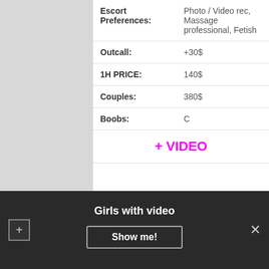| Field | Value |
| --- | --- |
| Escort Preferences: | Photo / Video rec, Massage professional, Fetish |
| Outcall: | +30$ |
| 1H PRICE: | 140$ |
| Couples: | 380$ |
| Boobs: | C |
|  | + VIDEO |
My goal is that our time together to be a thoroughly pleasurable and mutually satisfying , one where we can both escape from life's stressors and monotony and
Girls with video
Show me!